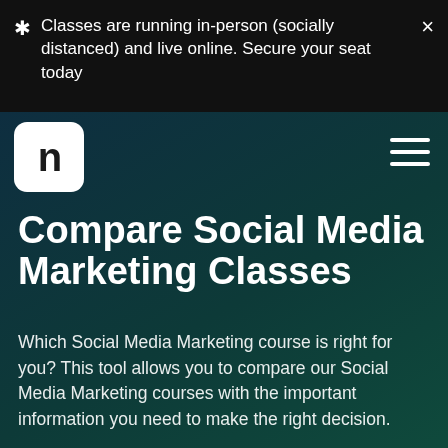* Classes are running in-person (socially distanced) and live online. Secure your seat today
[Figure (logo): White rounded square logo with letter n in dark color, representing an educational institution brand]
Compare Social Media Marketing Classes
Which Social Media Marketing course is right for you? This tool allows you to compare our Social Media Marketing courses with the important information you need to make the right decision.